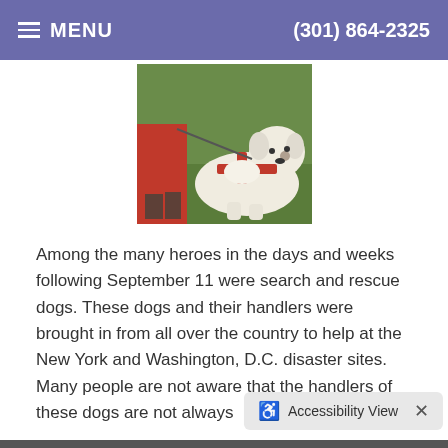MENU   (301) 864-2325
[Figure (photo): A white dog wearing a red harness lying on grass next to a person in a red jacket and boots.]
Among the many heroes in the days and weeks following September 11 were search and rescue dogs. These dogs and their handlers were brought in from all over the country to help at the New York and Washington, D.C. disaster sites. Many people are not aware that the handlers of these dogs are not always
Read more
Accessibility View ×